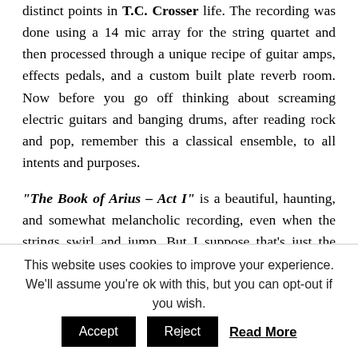distinct points in T.C. Crosser life. The recording was done using a 14 mic array for the string quartet and then processed through a unique recipe of guitar amps, effects pedals, and a custom built plate reverb room. Now before you go off thinking about screaming electric guitars and banging drums, after reading rock and pop, remember this a classical ensemble, to all intents and purposes.
“The Book of Arius – Act I” is a beautiful, haunting, and somewhat melancholic recording, even when the strings swirl and jump. But I suppose that’s just the lugubrious effect violins and cellos have
This website uses cookies to improve your experience. We'll assume you're ok with this, but you can opt-out if you wish. Accept Reject Read More